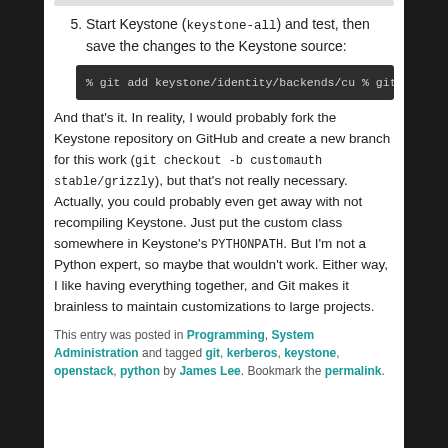5. Start Keystone (keystone-all) and test, then save the changes to the Keystone source:
[Figure (screenshot): Dark terminal/code block showing two git commands: '% git add keystone/identity/backends/cu' and '% git commit -m "Created custom identit']
And that's it. In reality, I would probably fork the Keystone repository on GitHub and create a new branch for this work (git checkout -b customauth stable/grizzly), but that's not really necessary. Actually, you could probably even get away with not recompiling Keystone. Just put the custom class somewhere in Keystone's PYTHONPATH. But I'm not a Python expert, so maybe that wouldn't work. Either way, I like having everything together, and Git makes it brainless to maintain customizations to large projects.
This entry was posted in Programming, System Administration and tagged git, kerberos, keystone, openstack, python by James Lee. Bookmark the permalink.